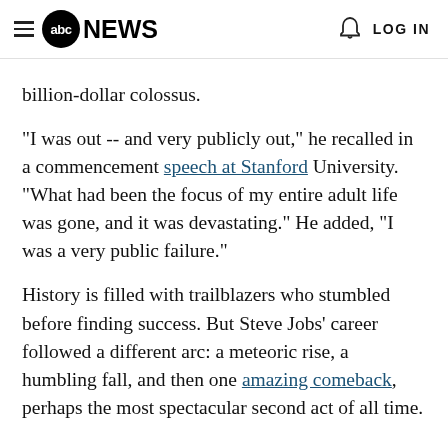abc NEWS  LOG IN
billion-dollar colossus.
"I was out -- and very publicly out," he recalled in a commencement speech at Stanford University. "What had been the focus of my entire adult life was gone, and it was devastating." He added, "I was a very public failure."
History is filled with trailblazers who stumbled before finding success. But Steve Jobs' career followed a different arc: a meteoric rise, a humbling fall, and then one amazing comeback, perhaps the most spectacular second act of all time.